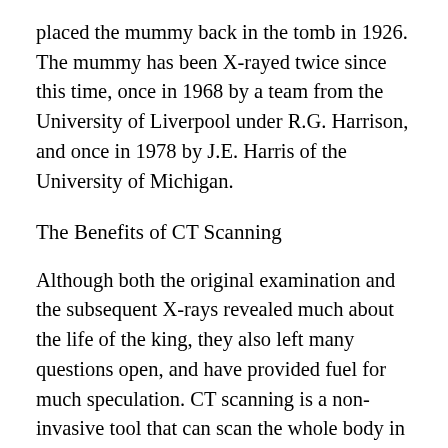placed the mummy back in the tomb in 1926. The mummy has been X-rayed twice since this time, once in 1968 by a team from the University of Liverpool under R.G. Harrison, and once in 1978 by J.E. Harris of the University of Michigan.
The Benefits of CT Scanning
Although both the original examination and the subsequent X-rays revealed much about the life of the king, they also left many questions open, and have provided fuel for much speculation. CT scanning is a non-invasive tool that can scan the whole body in a very short time, and can differentiate between various types of soft tissue